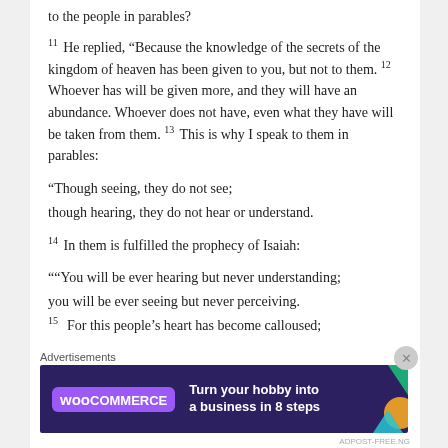to the people in parables?
11 He replied, “Because the knowledge of the secrets of the kingdom of heaven has been given to you, but not to them. 12 Whoever has will be given more, and they will have an abundance. Whoever does not have, even what they have will be taken from them. 13 This is why I speak to them in parables:
“Though seeing, they do not see;
though hearing, they do not hear or understand.
14 In them is fulfilled the prophecy of Isaiah:
““You will be ever hearing but never understanding;
you will be ever seeing but never perceiving.
15 For this people’s heart has become calloused;
Advertisements
[Figure (other): WooCommerce advertisement banner: purple/dark background with WooCommerce logo and text 'Turn your hobby into a business in 8 steps']